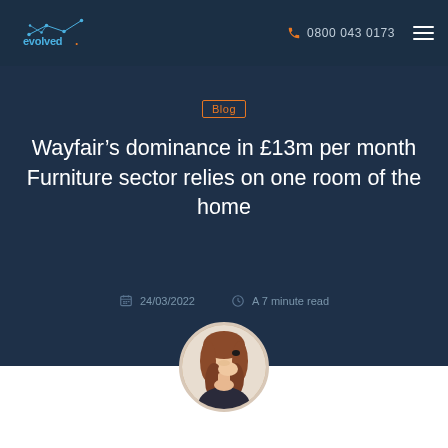evolved. | 0800 043 0173
Blog
Wayfair’s dominance in £13m per month Furniture sector relies on one room of the home
24/03/2022   A 7 minute read
[Figure (photo): Circular avatar photo of a woman with long auburn/red hair, looking downward, photographed against a light background]